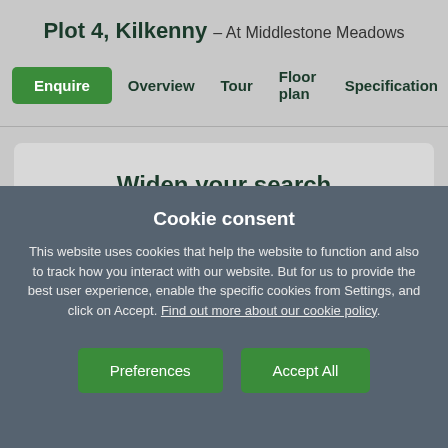Plot 4, Kilkenny – At Middlestone Meadows
Enquire  Overview  Tour  Floor plan  Specification
Widen your search
View other developments in County
Cookie consent
This website uses cookies that help the website to function and also to track how you interact with our website. But for us to provide the best user experience, enable the specific cookies from Settings, and click on Accept. Find out more about our cookie policy.